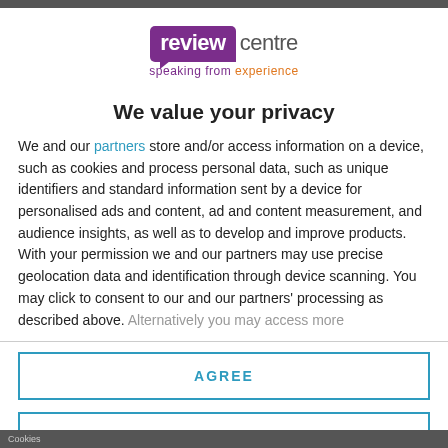[Figure (logo): Review Centre logo with purple speech-bubble style icon reading 'review' and grey text 'centre', tagline 'speaking from experience' in purple and orange]
We value your privacy
We and our partners store and/or access information on a device, such as cookies and process personal data, such as unique identifiers and standard information sent by a device for personalised ads and content, ad and content measurement, and audience insights, as well as to develop and improve products. With your permission we and our partners may use precise geolocation data and identification through device scanning. You may click to consent to our and our partners' processing as described above. Alternatively you may access more
AGREE
MORE OPTIONS